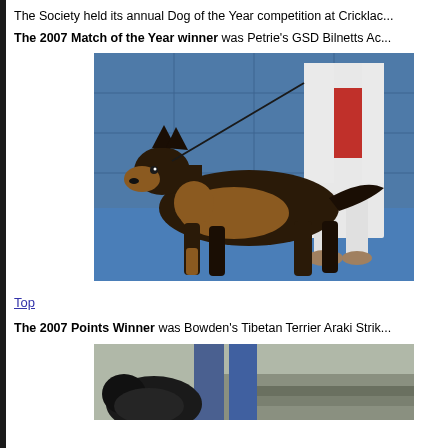The Society held its annual Dog of the Year competition at Cricklac...
The 2007 Match of the Year winner was Petrie's GSD Bilnetts Ac...
[Figure (photo): A German Shepherd dog standing in profile on a blue floor, being held on a lead by a person in white clothing with a red shirt visible behind them.]
Top
The 2007 Points Winner was Bowden's Tibetan Terrier Araki Strik...
[Figure (photo): Partial photo showing a dark-coated dog and person's legs in blue jeans, outdoors near stone steps.]